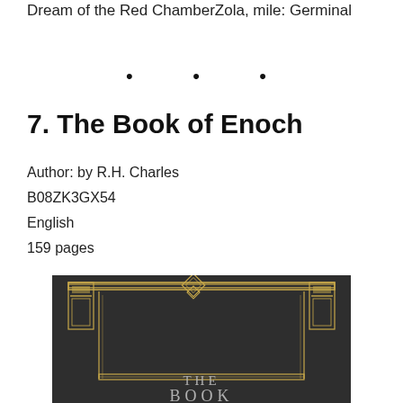Dream of the Red ChamberZola, mile: Germinal
• • •
7. The Book of Enoch
Author: by R.H. Charles
B08ZK3GX54
English
159 pages
[Figure (photo): Book cover of 'The Book of Enoch' showing a dark background with an ornate gold geometric/Art Deco frame design and the title text 'THE BOOK' visible at the bottom.]